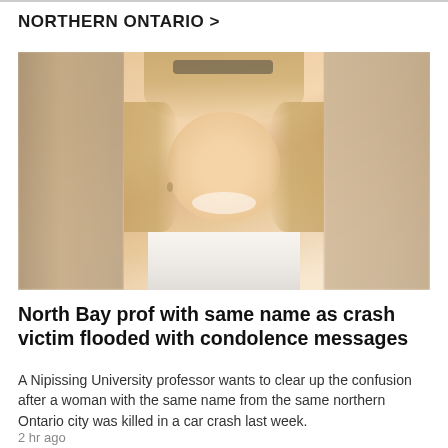NORTHERN ONTARIO >
[Figure (photo): Portrait photo of a smiling middle-aged woman with shoulder-length blonde hair, wearing a white top. The image shows a central clear portrait with blurred/cropped versions on left and right sides.]
North Bay prof with same name as crash victim flooded with condolence messages
A Nipissing University professor wants to clear up the confusion after a woman with the same name from the same northern Ontario city was killed in a car crash last week.
2 hr ago